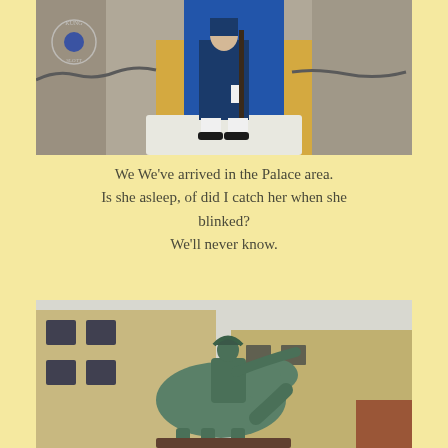[Figure (photo): A palace guard in blue uniform standing on a white platform in front of a blue door with stone columns, holding a rifle. A chain barrier is visible. A royal palace emblem is in the top-left corner.]
We We've arrived in the Palace area. Is she asleep, of did I catch her when she blinked? We'll never know.
[Figure (photo): A bronze equestrian statue of a military figure on horseback pointing outward, set against a pale sky with a large building visible in the background.]